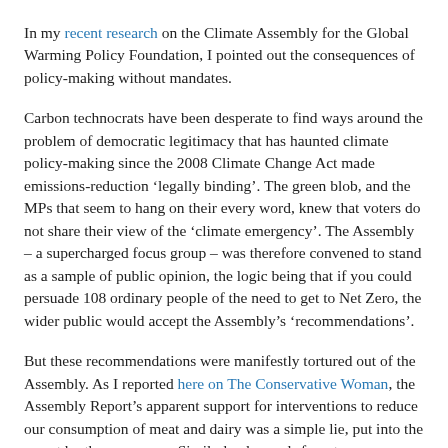In my recent research on the Climate Assembly for the Global Warming Policy Foundation, I pointed out the consequences of policy-making without mandates.
Carbon technocrats have been desperate to find ways around the problem of democratic legitimacy that has haunted climate policy-making since the 2008 Climate Change Act made emissions-reduction 'legally binding'. The green blob, and the MPs that seem to hang on their every word, knew that voters do not share their view of the 'climate emergency'. The Assembly – a supercharged focus group – was therefore convened to stand as a sample of public opinion, the logic being that if you could persuade 108 ordinary people of the need to get to Net Zero, the wider public would accept the Assembly's 'recommendations'.
But these recommendations were manifestly tortured out of the Assembly. As I reported here on The Conservative Woman, the Assembly Report's apparent support for interventions to reduce our consumption of meat and dairy was a simple lie, put into the report by the conveners. Similarly, demands for a tax on domestic gas use had come from the Green Alliance – an organisation heavily